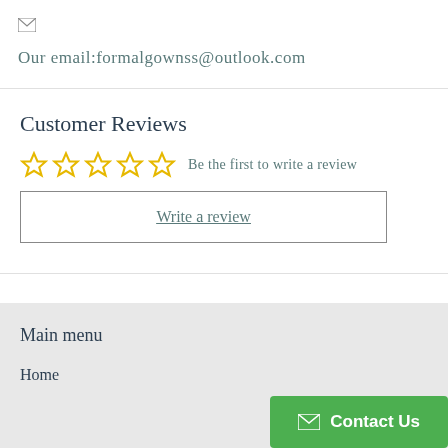Our email:formalgownss@outlook.com
Customer Reviews
☆☆☆☆☆ Be the first to write a review
Write a review
Main menu
Home
Contact Us